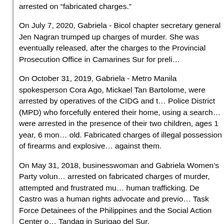arrested on “fabricated charges.”
On July 7, 2020, Gabriela - Bicol chapter secretary general Jen Nagran trumped up charges of murder. She was eventually released, after the charges to the Provincial Prosecution Office in Camarines Sur for preli…
On October 31, 2019, Gabriela - Metro Manila spokesperson Cora Ago, Mickael Tan Bartolome, were arrested by operatives of the CIDG and the Police District (MPD) who forcefully entered their home, using a search warrant. They were arrested in the presence of their two children, ages 1 year, 6 months old. Fabricated charges of illegal possession of firearms and explosives were filed against them.
On May 31, 2018, businesswoman and Gabriela Women’s Party volunteer was arrested on fabricated charges of murder, attempted and frustrated murder, and human trafficking. De Castro was a human rights advocate and previously worked with Task Force Detainees of the Philippines and the Social Action Center of the Diocese of Tandag in Surigao del Sur.
Karapatan documentation indicates that there are 102 women political… all are women human rights defenders, who are languishing in various detention centers in the country.
“The Duterte administration’s contempt for women human rights defenders, nationally known personalities such as journalist Maria Ressa and Senator Leila… who work in communities, are being shown through its harmful and co…